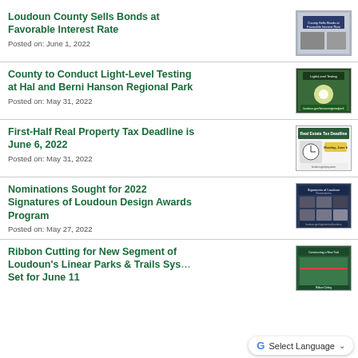Loudoun County Sells Bonds at Favorable Interest Rate
Posted on: June 1, 2022
[Figure (screenshot): Thumbnail image for Loudoun County Sells Bonds at Favorable Interest Rate article]
County to Conduct Light-Level Testing at Hal and Berni Hanson Regional Park
Posted on: May 31, 2022
[Figure (screenshot): Thumbnail image for Light-Level Testing at Hal and Berni Hanson Regional Park article]
First-Half Real Property Tax Deadline is June 6, 2022
Posted on: May 31, 2022
[Figure (screenshot): Thumbnail image for Real Estate Tax Deadline article]
Nominations Sought for 2022 Signatures of Loudoun Design Awards Program
Posted on: May 27, 2022
[Figure (screenshot): Thumbnail image for Signatures of Loudoun Design Awards article]
Ribbon Cutting for New Segment of Loudoun's Linear Parks & Trails System Set for June 11